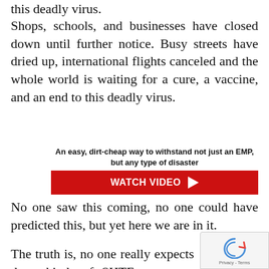this deadly virus.
Shops, schools, and businesses have closed down until further notice. Busy streets have dried up, international flights canceled and the whole world is waiting for a cure, a vaccine, and an end to this deadly virus.
[Figure (infographic): Advertisement banner: 'An easy, dirt-cheap way to withstand not just an EMP, but any type of disaster' with a red WATCH VIDEO button with play arrow]
No one saw this coming, no one could have predicted this, but yet here we are in it.
The truth is, no one really expects these kinds of SHTF events to happen, but yet they do. This is just the world...